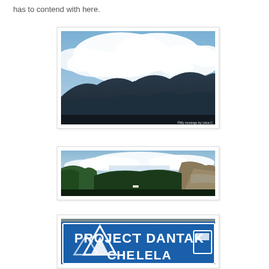has to contend with here.
[Figure (photo): Mountain landscape with dramatic clouds above dark mountain ridges, watermarked '©My musings by Uma C']
[Figure (photo): Panoramic view of a mountain valley with green hillsides, clouds and a road visible]
[Figure (photo): Blue road sign reading 'PROJECT DANTAK CHELELA' with mountain triangle warning symbol, partially cropped at bottom]